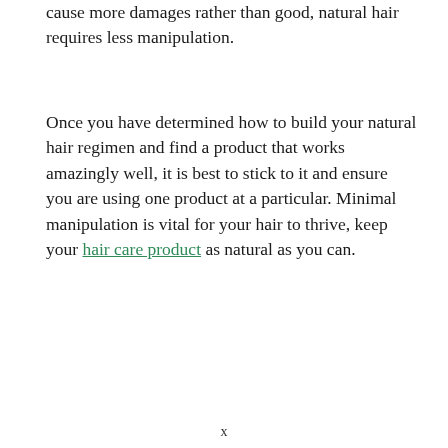cause more damages rather than good, natural hair requires less manipulation.
Once you have determined how to build your natural hair regimen and find a product that works amazingly well, it is best to stick to it and ensure you are using one product at a particular. Minimal manipulation is vital for your hair to thrive, keep your hair care product as natural as you can.
x